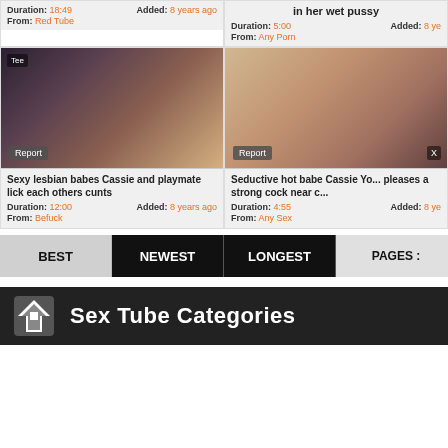[Figure (screenshot): Top-left video card partial: thumbnail cropped, info bar showing Duration: 18:49, Added: 8 years ago, From: Red Tube]
[Figure (screenshot): Top-right video card partial: title 'in her wet pussy', Duration: 5:00, Added: 8 years ago, From: Any Porn]
[Figure (screenshot): Bottom-left video card: thumbnail with Report badge, title 'Sexy lesbian babes Cassie and playmate lick each others cunts', Duration: 12:00, Added: 8 years ago, From: Befuck]
[Figure (screenshot): Bottom-right video card: thumbnail with Report badge, title 'Seductive hot babe Cassie Yo... pleases a strong cock near c...', Duration: 4:55, Added: 8 years ago, From: Any Sex]
BEST | NEWEST | LONGEST | PAGES :
Sex Tube Categories